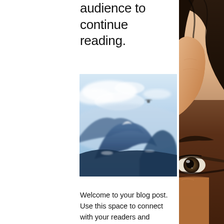audience to continue reading.
[Figure (photo): Blurred landscape photo of mountains with blue sky and clouds, paraglider visible in upper right area]
[Figure (photo): Close-up of a person's face showing eye and dark hair against warm peach/orange background, cropped to right edge]
Welcome to your blog post. Use this space to connect with your readers and